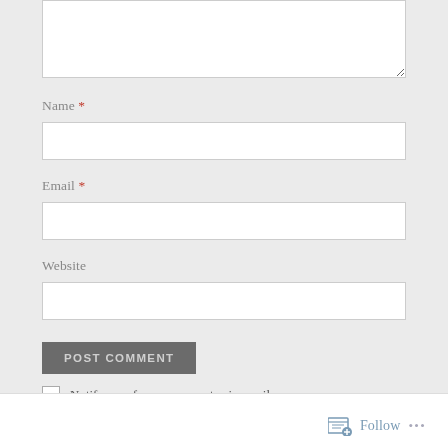[Figure (screenshot): Textarea input box (partially visible, top of page)]
Name *
[Figure (screenshot): Name text input box]
Email *
[Figure (screenshot): Email text input box]
Website
[Figure (screenshot): Website text input box]
POST COMMENT
Notify me of new comments via email.
Notify me of new posts via email.
[Figure (screenshot): Follow button with icon and ellipsis menu in footer bar]